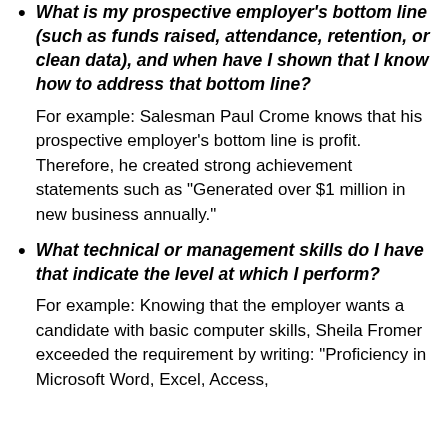What is my prospective employer's bottom line (such as funds raised, attendance, retention, or clean data), and when have I shown that I know how to address that bottom line?
For example: Salesman Paul Crome knows that his prospective employer's bottom line is profit. Therefore, he created strong achievement statements such as "Generated over $1 million in new business annually."
What technical or management skills do I have that indicate the level at which I perform?
For example: Knowing that the employer wants a candidate with basic computer skills, Sheila Fromer exceeded the requirement by writing: "Proficiency in Microsoft Word, Excel, Access,